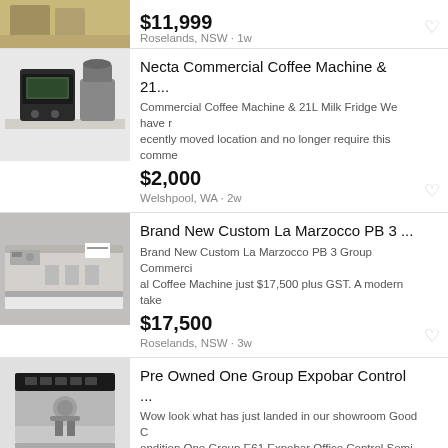[Figure (photo): Partial listing image of commercial equipment on shelving, top of page]
$11,999
Roselands, NSW · 1w
[Figure (photo): Necta Commercial Coffee Machine, black automatic coffee machine on a counter]
Necta Commercial Coffee Machine & 21...
Commercial Coffee Machine & 21L Milk Fridge We have recently moved location and no longer require this comme
$2,000
Welshpool, WA · 2w
[Figure (photo): Brand New Custom La Marzocco PB 3 Group Commercial Coffee Machine, silver espresso machine]
Brand New Custom La Marzocco PB 3 ...
Brand New Custom La Marzocco PB 3 Group Commercial Coffee Machine just $17,500 plus GST. A modern take
$17,500
Roselands, NSW · 3w
[Figure (photo): Pre Owned One Group Expobar Control espresso machine, silver single group machine]
Pre Owned One Group Expobar Control ...
Wow look what has just landed in our showroom Good Condition One Group E61 Expobar Office Control Semi Co
$1,499
Roselands, NSW · 4w
[Figure (photo): Partial listing image of Immaculate Kees Mirrage Dutte 2 Group, bottom of page]
Immaculate Kees Mirrage Dutte 2 Group...